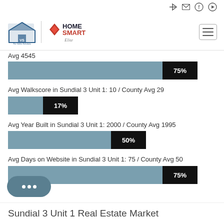[Figure (bar-chart): Avg 4545]
Avg Walkscore in Sundial 3 Unit 1: 10 / County Avg 29
[Figure (bar-chart): Walkscore]
Avg Year Built in Sundial 3 Unit 1: 2000 / County Avg 1995
[Figure (bar-chart): Year Built]
Avg Days on Website in Sundial 3 Unit 1: 75 / County Avg 50
[Figure (bar-chart): Days on Website]
Sundial 3 Unit 1 Real Estate Market